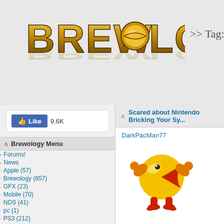[Figure (logo): Brewology website logo in gold/yellow 3D metallic block letters]
>> Tag: Rydian
[Figure (illustration): Facebook Like button showing 9.6K likes]
Brewology Menu
Forums!
News
Apple (57)
Brewology (857)
GFX (23)
Mobile (70)
NDS (41)
pc (1)
PS3 (212)
PSP (488)
PSVita (567)
Wii (122)
XBox (115)
PS3 Homebrew/PSN Store
Vita Homebrew Store
PS3 Homebrew Manager
PSN Links
PSN Update Finder
PSN / PKG Downloader
Downloads
PSP
PS3
Wii
Saved Games
PSP
PS3
Scared about Nintendo Bricking Your Sy...
DarkPacMan77
[Figure (illustration): Pac-Man character mascot graphic - yellow circle with orange arms and red feet]